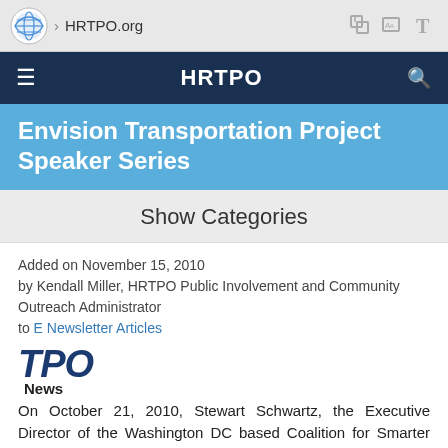[Figure (screenshot): Browser address bar showing HRTPO.org URL with browser navigation icons]
HRTPO
Envision Transportation Project Speaker Series
Show Categories
Added on November 15, 2010
by Kendall Miller, HRTPO Public Involvement and Community Outreach Administrator
to E Newsletter Articles
[Figure (logo): TPO News logo with italic bold blue TPO letters and bold News subtitle]
On October 21, 2010, Stewart Schwartz, the Executive Director of the Washington DC based Coalition for Smarter Growth, kicked off a speaker series as part of the Envision Transportation Project...